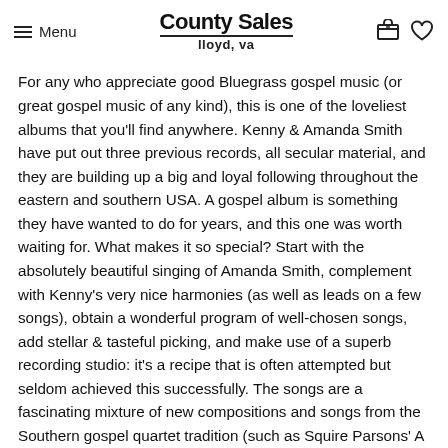Menu | County Sales lloyd, va
For any who appreciate good Bluegrass gospel music (or great gospel music of any kind), this is one of the loveliest albums that you'll find anywhere. Kenny & Amanda Smith have put out three previous records, all secular material, and they are building up a big and loyal following throughout the eastern and southern USA. A gospel album is something they have wanted to do for years, and this one was worth waiting for. What makes it so special? Start with the absolutely beautiful singing of Amanda Smith, complement with Kenny's very nice harmonies (as well as leads on a few songs), obtain a wonderful program of well-chosen songs, add stellar & tasteful picking, and make use of a superb recording studio: it's a recipe that is often attempted but seldom achieved this successfully. The songs are a fascinating mixture of new compositions and songs from the Southern gospel quartet tradition (such as Squire Parsons' A GREAT BIG HAND, STEPPING ON THE CLOUDS, and Luther Pressley's SHOUTIN' TIME (with guest Rhonda Vincent sharing a great solo & duet with Amanda).